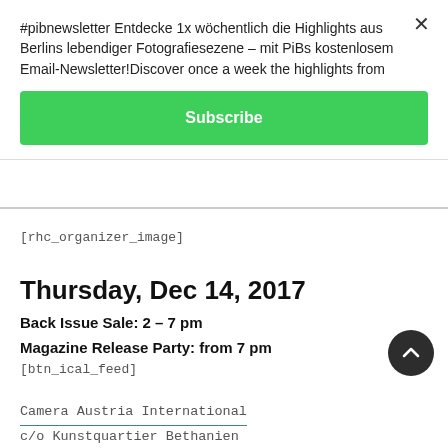#pibnewsletter Entdecke 1x wöchentlich die Highlights aus Berlins lebendiger Fotografiesezene – mit PiBs kostenlosem Email-Newsletter!Discover once a week the highlights from
Subscribe
[rhc_organizer_image]
Thursday, Dec 14, 2017
Back Issue Sale: 2 – 7 pm
Magazine Release Party: from 7 pm
[btn_ical_feed]
Camera Austria International
c/o Kunstquartier Bethanien